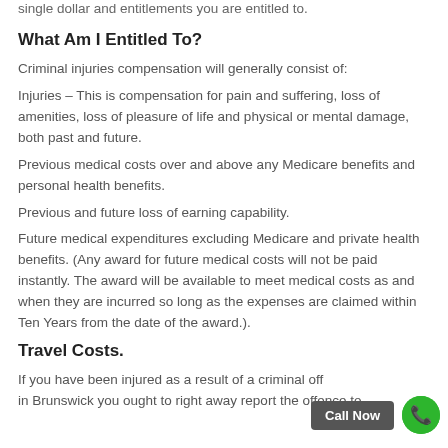single dollar and entitlements you are entitled to.
What Am I Entitled To?
Criminal injuries compensation will generally consist of:
Injuries – This is compensation for pain and suffering, loss of amenities, loss of pleasure of life and physical or mental damage, both past and future.
Previous medical costs over and above any Medicare benefits and personal health benefits.
Previous and future loss of earning capability.
Future medical expenditures excluding Medicare and private health benefits. (Any award for future medical costs will not be paid instantly. The award will be available to meet medical costs as and when they are incurred so long as the expenses are claimed within Ten Years from the date of the award.).
Travel Costs.
If you have been injured as a result of a criminal offence in Brunswick you ought to right away report the offence to